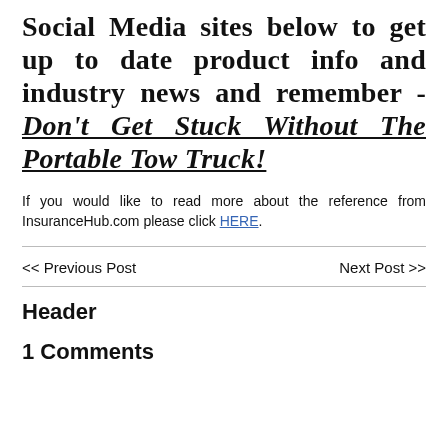Social Media sites below to get up to date product info and industry news and remember - Don't Get Stuck Without The Portable Tow Truck!
If you would like to read more about the reference from InsuranceHub.com please click HERE.
<< Previous Post
Next Post >>
Header
1 Comments